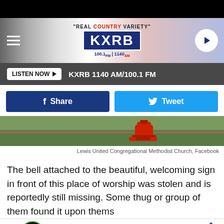[Figure (screenshot): KXRB radio station website header with logo, 'REAL COUNTRY VARIETY', 100.1 FM / 1140 AM, hamburger menu, and play button]
LISTEN NOW ▶  KXRB 1140 AM/100.1 FM
Share   Tweet
[Figure (photo): Photo of a red fire hydrant on grass, from Lewis United Congregational Methodist Church Facebook page]
Lewis United Congregational Methodist Church, Facebook
The bell attached to the beautiful, welcoming sign in front of this place of worship was stolen and is reportedly still missing. Some thug or group of them found it upon themselves …its monumental …inning